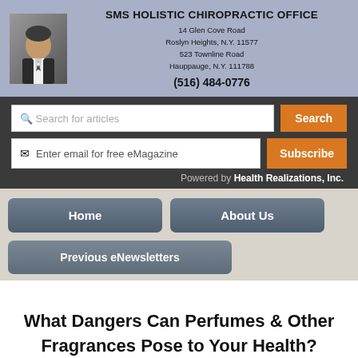SMS HOLISTIC CHIROPRACTIC OFFICE
14 Glen Cove Road
Roslyn Heights, N.Y. 11577
523 Townline Road
Hauppauge, N.Y. 111788
(516) 484-0776
Search for articles | Enter email for free eMagazine | Powered by Health Realizations, Inc.
Home | About Us | Previous eNewsletters
What Dangers Can Perfumes & Other Fragrances Pose to Your Health?